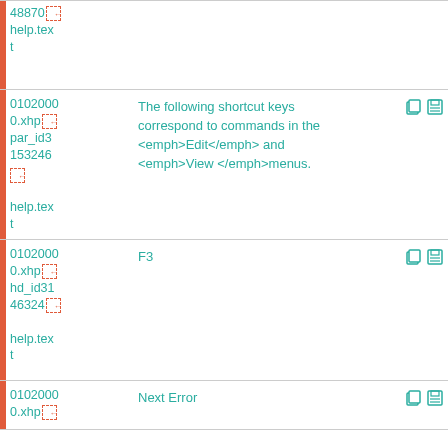| ID | Content | Actions |
| --- | --- | --- |
| 48870
0.xhp
help.text |  |  |
| 01020000.xhp
par_id3153246
help.text | The following shortcut keys correspond to commands in the <emph>Edit</emph> and <emph>View </emph>menus. | icons |
| 01020000.xhp
hd_id3146324
help.text | F3 | icons |
| 01020000.xhp | Next Error | icons |